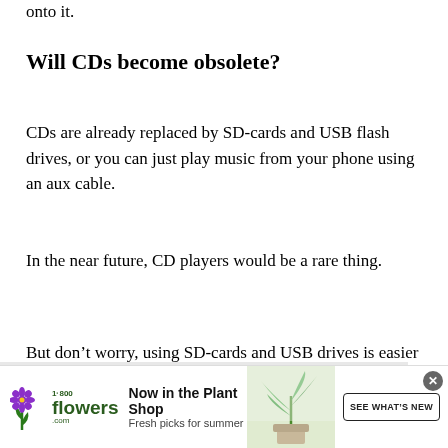onto it.
Will CDs become obsolete?
CDs are already replaced by SD-cards and USB flash drives, or you can just play music from your phone using an aux cable.
In the near future, CD players would be a rare thing.
But don't worry, using SD-cards and USB drives is easier than using a CD.
[Figure (other): 1-800-Flowers advertisement banner with plant shop promotion. Shows logo, 'Now in the Plant Shop - Fresh picks for summer' text, plant image, and 'SEE WHAT'S NEW' button.]